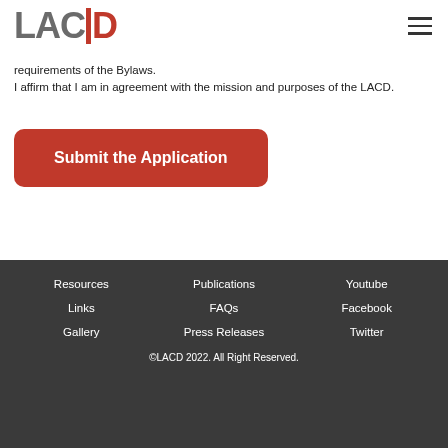LAC ID
requirements of the Bylaws.
I affirm that I am in agreement with the mission and purposes of the LACD.
[Figure (other): Red rounded-rectangle button with white text: Submit the Application]
Resources  Publications  Youtube  Links  FAQs  Facebook  Gallery  Press Releases  Twitter  ©LACD 2022. All Right Reserved.